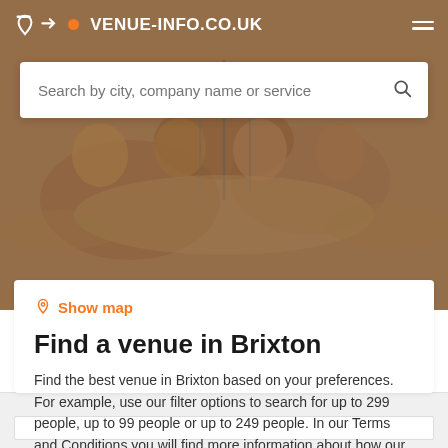[Figure (screenshot): Hero background image of venue/banquet hall with round tables, gold chairs, and glassware, partially obscured by overlay]
VENUE-INFO.CO.UK
Search by city, company name or service
Show map
Find a venue in Brixton
Find the best venue in Brixton based on your preferences. For example, use our filter options to search for up to 299 people, up to 99 people or up to 249 people. In our Terms and Conditions you will find more information about how our search results are generated.
Filters